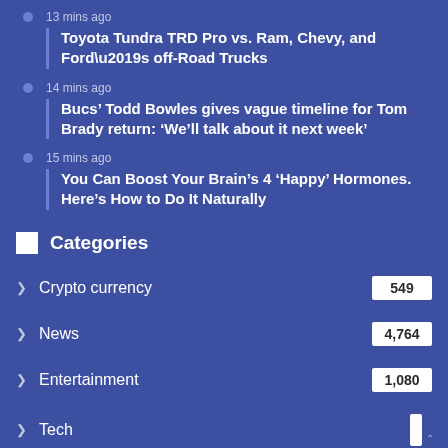13 mins ago
Toyota Tundra TRD Pro vs. Ram, Chevy, and Ford’s off-Road Trucks
14 mins ago
Bucs’ Todd Bowles gives vague timeline for Tom Brady return: ‘We’ll talk about it next week’
15 mins ago
You Can Boost Your Brain’s 4 ‘Happy’ Hormones. Here’s How to Do It Naturally
Categories
Crypto currency 549
News 4,764
Entertainment 1,080
Tech
Health 639
Automobiles